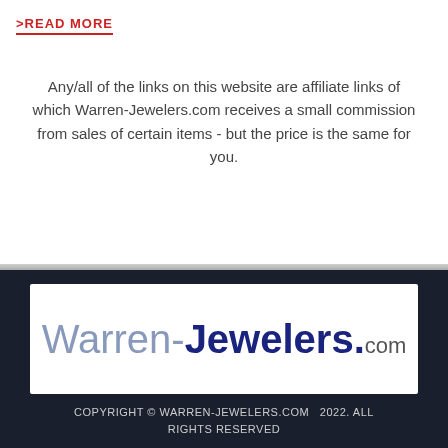>READ MORE
Any/all of the links on this website are affiliate links of which Warren-Jewelers.com receives a small commission from sales of certain items - but the price is the same for you.
[Figure (logo): Warren-Jewelers.com logo in a white box on dark background]
COPYRIGHT © WARREN-JEWELERS.COM  2022. ALL RIGHTS RESERVED